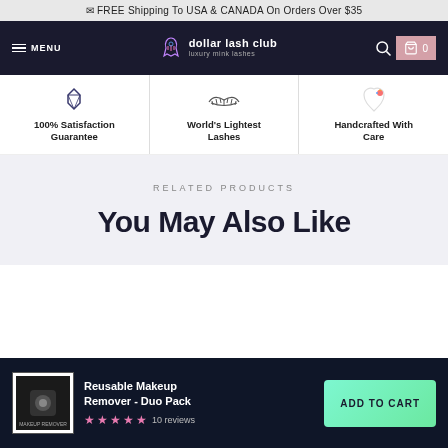✉ FREE Shipping To USA & CANADA On Orders Over $35
[Figure (screenshot): Navigation bar with hamburger menu, MENU text, dollar lash club unicorn logo, search icon, and cart icon with 0]
[Figure (infographic): Three feature icons: gem/crystal for 100% Satisfaction Guarantee, eyelashes for World's Lightest Lashes, unicorn for Handcrafted With Care]
100% Satisfaction Guarantee
World's Lightest Lashes
Handcrafted With Care
RELATED PRODUCTS
You May Also Like
Reusable Makeup Remover - Duo Pack
★★★★★ 10 reviews